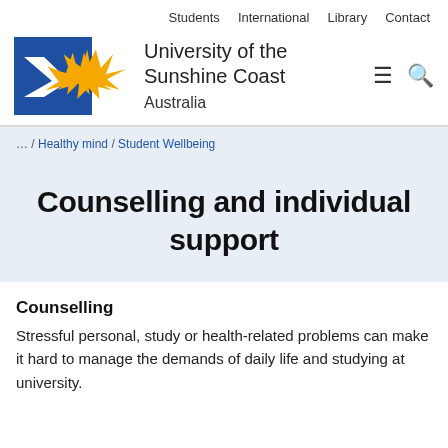Students   International   Library   Contact
[Figure (logo): University of the Sunshine Coast Australia logo — blue square with white bird silhouette and gold sunray shape]
... / Healthy mind / Student Wellbeing
Counselling and individual support
Counselling
Stressful personal, study or health-related problems can make it hard to manage the demands of daily life and studying at university.